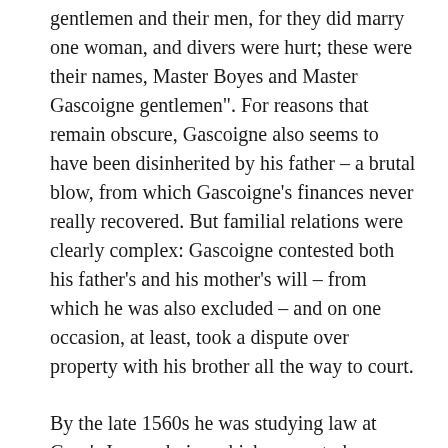gentlemen and their men, for they did marry one woman, and divers were hurt; these were their names, Master Boyes and Master Gascoigne gentlemen". For reasons that remain obscure, Gascoigne also seems to have been disinherited by his father – a brutal blow, from which Gascoigne's finances never really recovered. But familial relations were clearly complex: Gascoigne contested both his father's and his mother's will – from which he was also excluded – and on one occasion, at least, took a dispute over property with his brother all the way to court.
By the late 1560s he was studying law at Gray's Inn, a choice which seems to have brought no discernable uptick in the success of his litigation. He would not, in any case, be called to the Bar, attempting instead to use the inns as a springboard